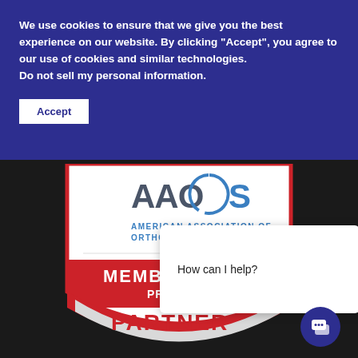We use cookies to ensure that we give you the best experience on our website. By clicking "Accept", you agree to our use of cookies and similar technologies.
Do not sell my personal information.
Accept
[Figure (logo): AAOS American Association of Orthopaedic Surgeons shield/badge with MEMBER PROGRAM PARTNER text in red and white]
How can I help?